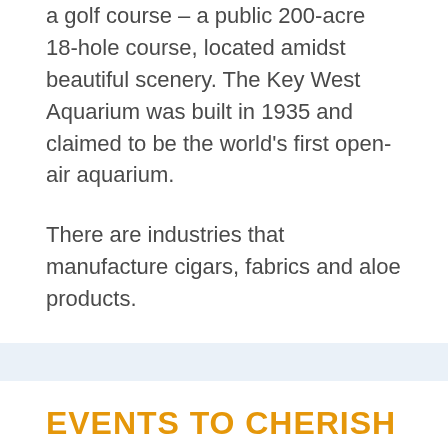a golf course – a public 200-acre 18-hole course, located amidst beautiful scenery. The Key West Aquarium was built in 1935 and claimed to be the world's first open-air aquarium.
There are industries that manufacture cigars, fabrics and aloe products.
EVENTS TO CHERISH
To add more color, there are plenty of events